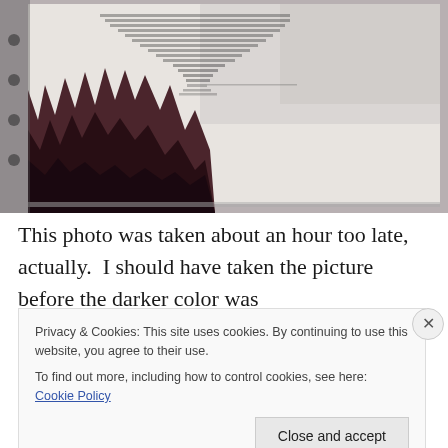[Figure (photo): A photo of an open book or binder showing artwork on paper. The artwork appears to be a text-based typographic illustration forming a funnel or hourglass shape in the upper portion. The lower-left corner of the page has dark maroon/purple spiky or textured markings. The paper sits on a light gray surface.]
This photo was taken about an hour too late, actually.  I should have taken the picture before the darker color was
Privacy & Cookies: This site uses cookies. By continuing to use this website, you agree to their use.
To find out more, including how to control cookies, see here: Cookie Policy
Close and accept